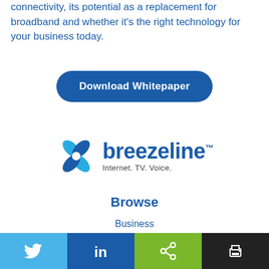connectivity, its potential as a replacement for broadband and whether it's the right technology for your business today.
[Figure (other): Download Whitepaper button — rounded rectangle button in dark blue with white bold text reading 'Download Whitepaper']
[Figure (logo): Breezeline logo — blue pinwheel/flower icon to the left of the word 'breezeline' in bold dark blue with trademark symbol, and tagline 'Internet. TV. Voice.' in smaller gray text below]
Browse
Business
Carriers
Social share bar with Twitter, LinkedIn, Share, and Print icons